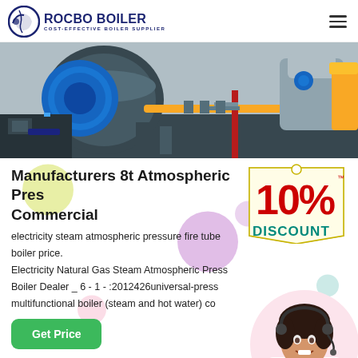ROCBO BOILER — COST-EFFECTIVE BOILER SUPPLIER
[Figure (photo): Industrial boiler equipment with yellow pipes and blue machinery in a factory setting]
Manufacturers 8t Atmospheric Pressure Boiler Commercial
[Figure (infographic): 10% DISCOUNT promotional badge with colorful decorative bubbles]
electricity steam atmospheric pressure fire tube boiler price. Electricity Natural Gas Steam Atmospheric Pressure Boiler Dealer _ 6 - 1 - :2012426universal-press multifunctional boiler (steam and hot water) co
[Figure (photo): Female customer service representative wearing a headset, smiling]
Get Price